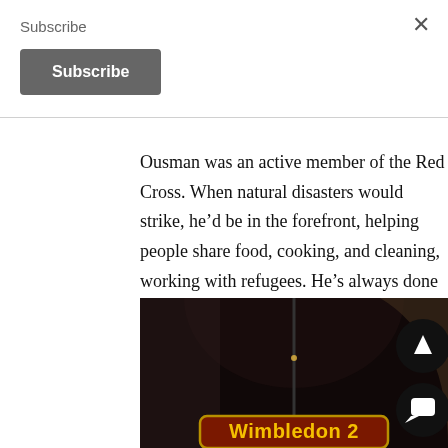Subscribe
Subscribe
Ousman was an active member of the Red Cross. When natural disasters would strike, he’d be in the forefront, helping people share food, cooking, and cleaning, working with refugees. He’s always done stuff for free, not expecting anything in return.
[Figure (photo): Dark tunnel photo with a Wimbledon 2 sign visible at the bottom, orange/yellow lettering on a dark red/brown background. Two circular dark buttons visible on the right side — one with an up chevron, one with a chat bubble icon.]